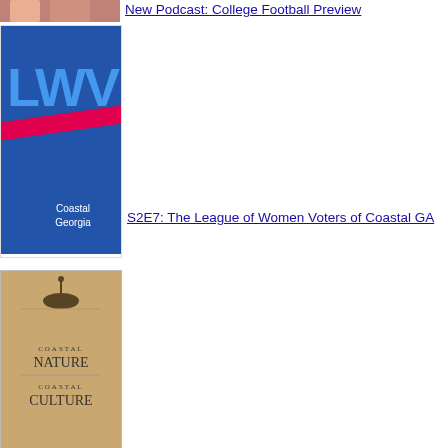[Figure (photo): Partial thumbnail image of college football, cropped at top]
New Podcast: College Football Preview
[Figure (logo): LWV Coastal Georgia logo — blue background, large blue LWV letters, red diagonal stripe, white text 'Coastal Georgia']
S2E7: The League of Women Voters of Coastal GA
[Figure (photo): Book cover: Coastal Nature Coastal Culture, tan/brown background with silhouette of person in boat]
S2E9: Paul Pressly, Ossabaw Island, and Environmental History
[Figure (photo): Dark moody Halloween image — figure near a door]
S5E1: Happy Halloween
[Figure (photo): Book cover: John D. MacDonald — The Deep Blue Good-by, dark blue cover]